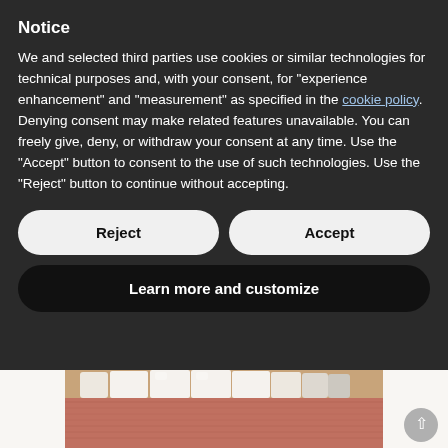Notice
We and selected third parties use cookies or similar technologies for technical purposes and, with your consent, for “experience enhancement” and “measurement” as specified in the cookie policy. Denying consent may make related features unavailable. You can freely give, deny, or withdraw your consent at any time. Use the “Accept” button to consent to the use of such technologies. Use the “Reject” button to continue without accepting.
Reject
Accept
Learn more and customize
[Figure (photo): Close-up photograph of human teeth and gums, frontal view showing upper teeth and lower lip area.]